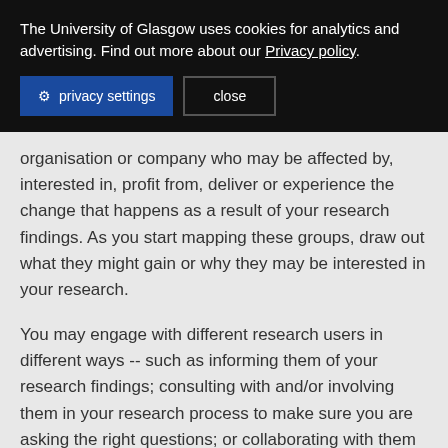The University of Glasgow uses cookies for analytics and advertising. Find out more about our Privacy policy.
privacy settings   close
organisation or company who may be affected by, interested in, profit from, deliver or experience the change that happens as a result of your research findings. As you start mapping these groups, draw out what they might gain or why they may be interested in your research.
You may engage with different research users in different ways -- such as informing them of your research findings; consulting with and/or involving them in your research process to make sure you are asking the right questions; or collaborating with them to co-develop your